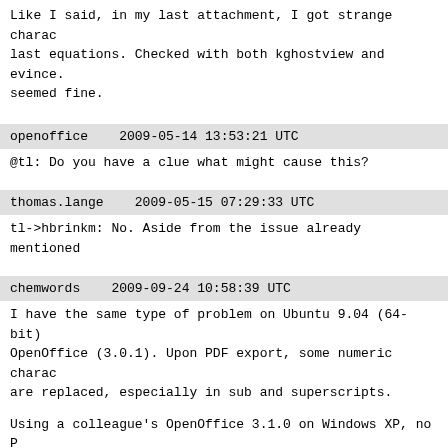Like I said, in my last attachment, I got strange charac last equations. Checked with both kghostview and evince. seemed fine.
openoffice   2009-05-14 13:53:21 UTC
@tl: Do you have a clue what might cause this?
thomas.lange   2009-05-15 07:29:33 UTC
tl->hbrinkm: No. Aside from the issue already mentioned
chemwords   2009-09-24 10:58:39 UTC
I have the same type of problem on Ubuntu 9.04 (64-bit) OpenOffice (3.0.1). Upon PDF export, some numeric charac are replaced, especially in sub and superscripts.
Using a colleague's OpenOffice 3.1.0 on Windows XP, no P encountered and the math looks normal. For now, I will u generate PDF, while waiting that hopefully the problem w OpenOffice 3.1.1 which appears to be included in the upc
ubiquitous1980   2009-10-22 14:01:21 UTC
I am 99 percent certain that debian and ubuntu use pa...